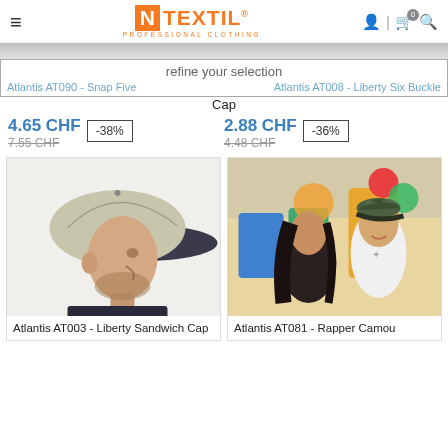N TEXTIL PROFESSIONAL CLOTHING
refine your selection
Atlantis AT090 - Snap Five | Atlantis AT008 - Liberty Six Buckle Cap
4.65 CHF  -38%  7.55 CHF  |  2.88 CHF  -36%  4.48 CHF
[Figure (photo): Man wearing a light beige/khaki baseball cap with dark navy brim, shown in side profile against white background]
Atlantis AT003 - Liberty Sandwich Cap
[Figure (photo): Young couple outdoors at an amusement park, man wearing a dark camo-pattern cap, woman with long dark hair]
Atlantis AT081 - Rapper Camou